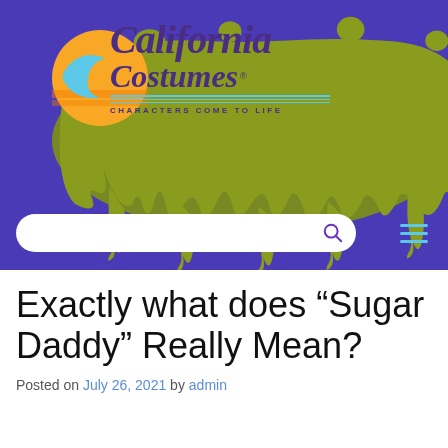[Figure (logo): California Costumes logo with orange sun, blue wave, purple text, and green slime drips on a purple banner background. Tagline reads 'CHARACTERS COME TO LIFE'.]
Exactly what does “Sugar Daddy” Really Mean?
Posted on July 26, 2021 by admin